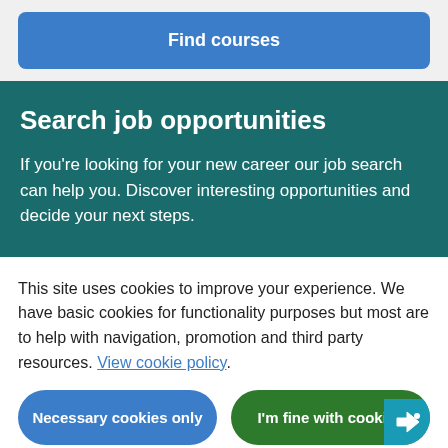[Figure (screenshot): Blue 'Find courses' button on light grey background]
Search job opportunities
If you're looking for your new career our job search can help you. Discover interesting opportunities and decide your next steps.
This site uses cookies to improve your experience. We have basic cookies for functionality purposes but most are to help with navigation, promotion and third party resources. View cookie policy.
[Figure (screenshot): Two buttons: 'Necessary cookies only' (blue, pill-shaped) and 'I'm fine with cookies' (green, pill-shaped) with a megaphone badge icon in the bottom-right corner]